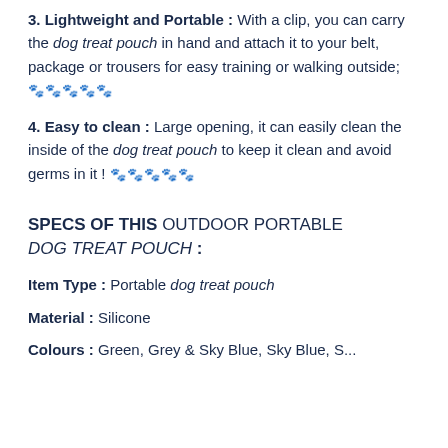3. Lightweight and Portable : With a clip, you can carry the dog treat pouch in hand and attach it to your belt, package or trousers for easy training or walking outside; 🐾🐾🐾🐾🐾
4. Easy to clean : Large opening, it can easily clean the inside of the dog treat pouch to keep it clean and avoid germs in it ! 🐾🐾🐾🐾🐾
SPECS OF THIS OUTDOOR PORTABLE DOG TREAT POUCH :
Item Type : Portable dog treat pouch
Material : Silicone
Colours : ...